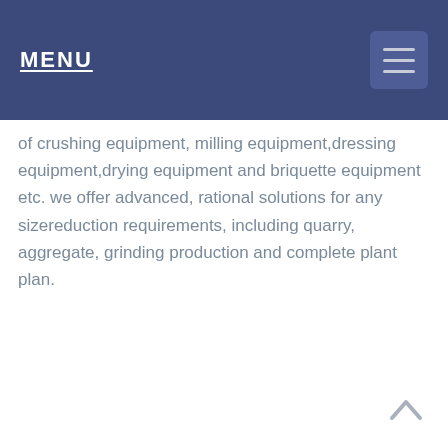MENU
of crushing equipment, milling equipment,dressing equipment,drying equipment and briquette equipment etc. we offer advanced, rational solutions for any sizereduction requirements, including quarry, aggregate, grinding production and complete plant plan.